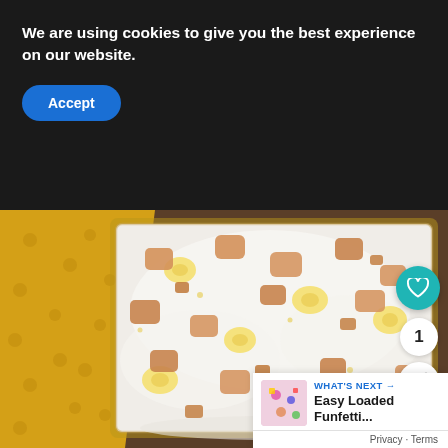We are using cookies to give you the best experience on our website.
Accept
[Figure (photo): A glass baking dish filled with layered banana pudding dessert topped with whipped cream, sliced bananas, and crushed vanilla wafer cookies, placed on a yellow polka-dot cloth on a wooden surface.]
WHAT'S NEXT → Easy Loaded Funfetti...
Privacy · Terms